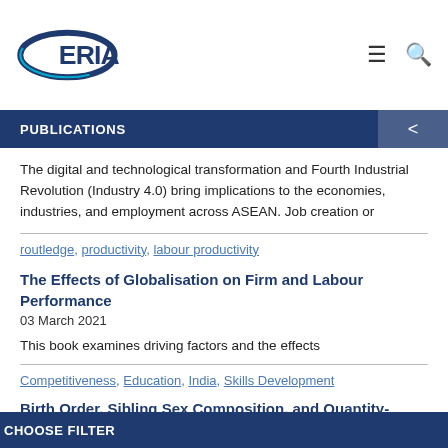ERIA
PUBLICATIONS
The digital and technological transformation and Fourth Industrial Revolution (Industry 4.0) bring implications to the economies, industries, and employment across ASEAN. Job creation or
routledge, productivity, labour productivity
The Effects of Globalisation on Firm and Labour Performance
03 March 2021
This book examines driving factors and the effects
Competitiveness, Education, India, Skills Development
Birth Order, Sibling Sex Composition, and Quantity-Quality Trade-offs – Evidence from
CHOOSE FILTER